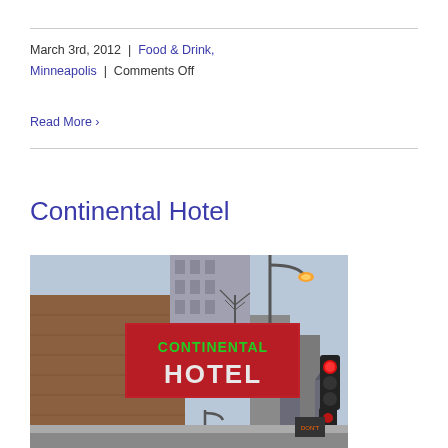March 3rd, 2012  |  Food & Drink, Minneapolis  |  Comments Off
Read More ›
Continental Hotel
[Figure (photo): Street-level photograph of the Continental Hotel sign — a large red neon sign reading CONTINENTAL HOTEL — at dusk, with a traffic light, bare trees, brick building, and distant church towers visible in the background.]